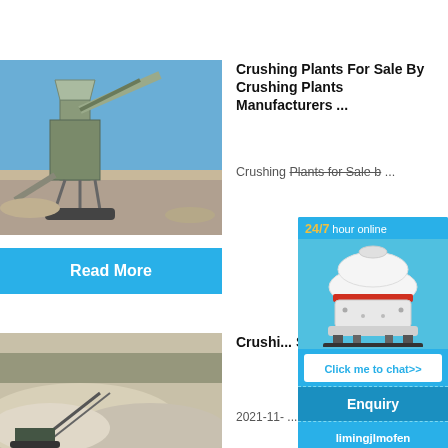[Figure (photo): Crushing plant machinery outdoors under blue sky]
Crushing Plants For Sale By Crushing Plants Manufacturers ...
Crushing Plants for Sale b ...
Read More
[Figure (photo): Large pile of crushed aggregate material with conveyor machinery]
Crushing ... Sale My... n Page 2 ...
2021-11- ...
[Figure (infographic): Chat widget: 24/7 hour online, cone crusher image, Click me to chat>>, Enquiry, limingjlmofen]